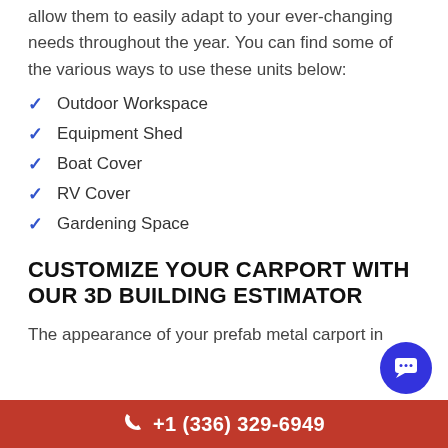allow them to easily adapt to your ever-changing needs throughout the year. You can find some of the various ways to use these units below:
Outdoor Workspace
Equipment Shed
Boat Cover
RV Cover
Gardening Space
CUSTOMIZE YOUR CARPORT WITH OUR 3D BUILDING ESTIMATOR
The appearance of your prefab metal carport in
+1 (336) 329-6949